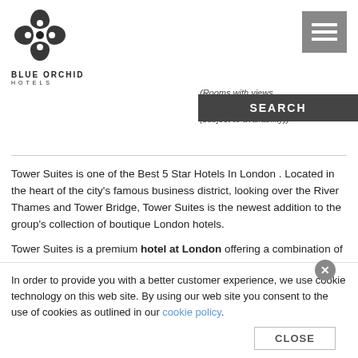[Figure (logo): Blue Orchid Hotels logo with ornamental flower symbol above text BLUE ORCHID HOTELS]
[Figure (other): Hamburger menu icon button (three white lines on grey background)]
(Rooms with views of London and the R... (subject to availability))
SEARCH
Tower Suites is one of the Best 5 Star Hotels In London . Located in the heart of the city's famous business district, looking over the River Thames and Tower Bridge, Tower Suites is the newest addition to the group's collection of boutique London hotels.
Tower Suites is a premium hotel at London offering a combination of luxury studios and suites near the Tower of London. The range
In order to provide you with a better customer experience, we use cookie technology on this web site. By using our web site you consent to the use of cookies as outlined in our cookie policy.
CLOSE
Tower Suites. A stone's throw from the myriad shopping and dining